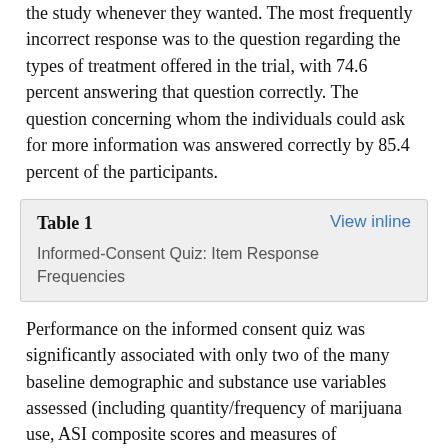the study whenever they wanted. The most frequently incorrect response was to the question regarding the types of treatment offered in the trial, with 74.6 percent answering that question correctly. The question concerning whom the individuals could ask for more information was answered correctly by 85.4 percent of the participants.
| Table 1 | View inline |
| --- | --- |
| Informed-Consent Quiz: Item Response Frequencies |  |
Performance on the informed consent quiz was significantly associated with only two of the many baseline demographic and substance use variables assessed (including quantity/frequency of marijuana use, ASI composite scores and measures of motivation). Quiz scores correlated positively with the number of years the individual had been drinking (r = 0.19, p = .03) and the diagnosis of an antisocial personality disorder (ASPD) (r = 0.19 p = .04): participants who reported regular alcohol use and who met criteria